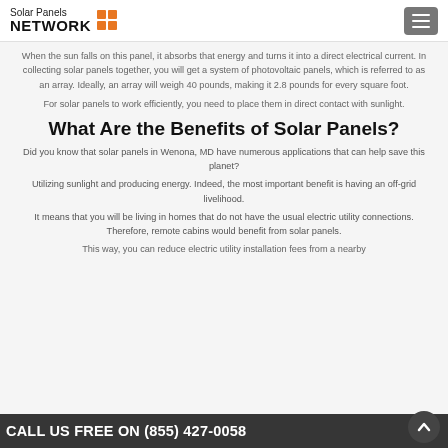Solar Panels NETWORK
When the sun falls on this panel, it absorbs that energy and turns it into a direct electrical current. In collecting solar panels together, you will get a system of photovoltaic panels, which is referred to as an array. Ideally, an array will weigh 40 pounds, making it 2.8 pounds for every square foot.
For solar panels to work efficiently, you need to place them in direct contact with sunlight.
What Are the Benefits of Solar Panels?
Did you know that solar panels in Wenona, MD have numerous applications that can help save this planet?
Utilizing sunlight and producing energy. Indeed, the most important benefit is having an off-grid livelihood.
It means that you will be living in homes that do not have the usual electric utility connections. Therefore, remote cabins would benefit from solar panels.
This way, you can reduce electric utility installation fees from a nearby...
CALL US FREE ON (855) 427-0058